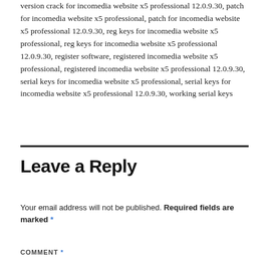version crack for incomedia website x5 professional 12.0.9.30, patch for incomedia website x5 professional, patch for incomedia website x5 professional 12.0.9.30, reg keys for incomedia website x5 professional, reg keys for incomedia website x5 professional 12.0.9.30, register software, registered incomedia website x5 professional, registered incomedia website x5 professional 12.0.9.30, serial keys for incomedia website x5 professional, serial keys for incomedia website x5 professional 12.0.9.30, working serial keys
Leave a Reply
Your email address will not be published. Required fields are marked *
COMMENT *